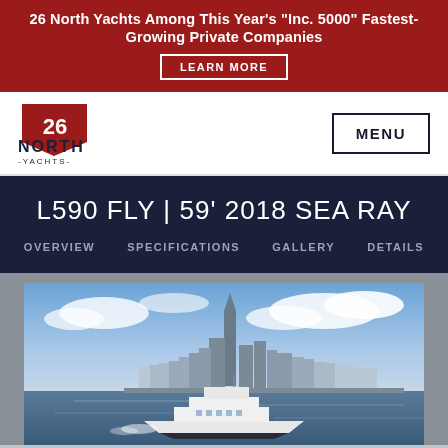26 North Yachts Among This Year's "Inc. 5000" Fastest-Growing Private Companies
LEARN MORE
[Figure (logo): 26 North Yachts logo with red shield bearing '26', text 'NORTH' and '-YACHTS-']
MENU
L590 FLY | 59' 2018 SEA RAY
OVERVIEW
SPECIFICATIONS
GALLERY
DETAILS
[Figure (photo): White luxury motor yacht cruising on water with New York City skyline and One World Trade Center in background under partly cloudy sky]